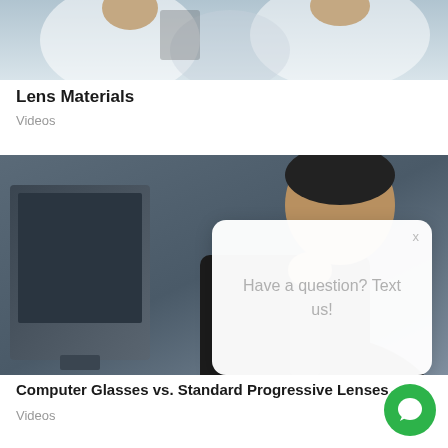[Figure (photo): Top portion of a photo showing people in white lab coats, cropped at the top of the page]
Lens Materials
Videos
[Figure (photo): Photo of a person in a dark suit sitting in front of a computer monitor, viewed from behind/side. A white chat bubble popup overlays the right side with text 'Have a question? Text us!' and an X close button. A green chat button is in the bottom right corner.]
Computer Glasses vs. Standard Progressive Lenses
Videos